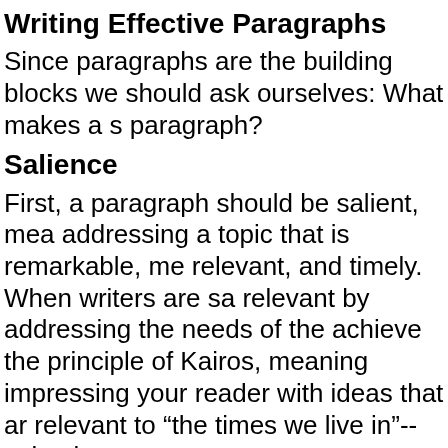Writing Effective Paragraphs
Since paragraphs are the building blocks we should ask ourselves: What makes a strong paragraph?
Salience
First, a paragraph should be salient, meaning addressing a topic that is remarkable, meaningful, relevant, and timely. When writers are salient and relevant by addressing the needs of the audience, they achieve the principle of Kairos, meaning they are impressing your reader with ideas that are timely and relevant to “the times we live in”--zeitgeist.
Main Idea or Topic Sentence
Second, a paragraph must have a single main idea stated in a topic sentence but sometimes left to implication or suggestion. Whether or not there is a topic sentence, the paragraph will be governed by one main idea.